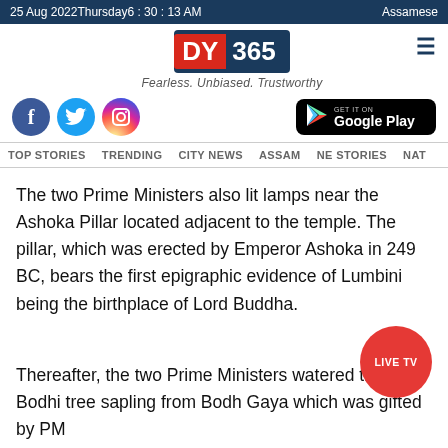25 Aug 2022 Thursday 6 : 30 : 13 AM | Assamese
[Figure (logo): DY365 logo with tagline Fearless. Unbiased. Trustworthy]
[Figure (infographic): Social media icons (Facebook, Twitter, Instagram) and Google Play download button]
TOP STORIES  TRENDING  CITY NEWS  ASSAM  NE STORIES  NAT
The two Prime Ministers also lit lamps near the Ashoka Pillar located adjacent to the temple. The pillar, which was erected by Emperor Ashoka in 249 BC, bears the first epigraphic evidence of Lumbini being the birthplace of Lord Buddha.
Thereafter, the two Prime Ministers watered the Bodhi tree sapling from Bodh Gaya which was gifted by PM